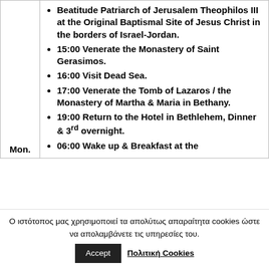Beatitude Patriarch of Jerusalem Theophilos III at the Original Baptismal Site of Jesus Christ in the borders of Israel-Jordan.
15:00 Venerate the Monastery of Saint Gerasimos.
16:00 Visit Dead Sea.
17:00 Venerate the Tomb of Lazaros / the Monastery of Martha & Maria in Bethany.
19:00 Return to the Hotel in Bethlehem, Dinner & 3rd overnight.
Mon.
06:00 Wake up & Breakfast at the
Ο ιστότοπος μας χρησιμοποιεί τα απολύτως απαραίτητα cookies ώστε να απολαμβάνετε τις υπηρεσίες του.